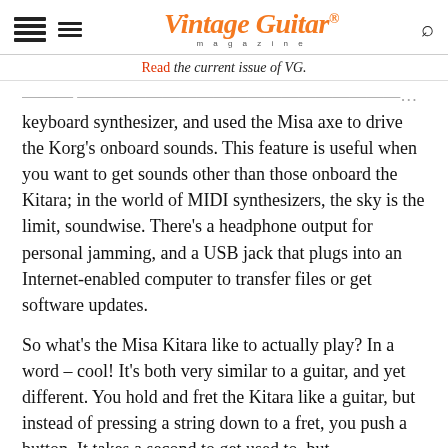Vintage Guitar magazine
Read the current issue of VG.
keyboard synthesizer, and used the Misa axe to drive the Korg's onboard sounds. This feature is useful when you want to get sounds other than those onboard the Kitara; in the world of MIDI synthesizers, the sky is the limit, soundwise. There's a headphone output for personal jamming, and a USB jack that plugs into an Internet-enabled computer to transfer files or get software updates.
So what's the Misa Kitara like to actually play? In a word – cool! It's both very similar to a guitar, and yet different. You hold and fret the Kitara like a guitar, but instead of pressing a string down to a fret, you push a button. It takes a second to get used to, but conceptually, is very similar. Picking and strumming is again similar, but, this being a